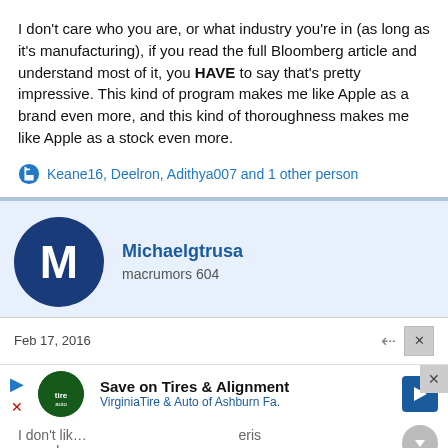I don't care who you are, or what industry you're in (as long as it's manufacturing), if you read the full Bloomberg article and understand most of it, you HAVE to say that's pretty impressive. This kind of program makes me like Apple as a brand even more, and this kind of thoroughness makes me like Apple as a stock even more.
Keane16, Deelron, Adithya007 and 1 other person
Michaelgtrusa
macrumors 604
Feb 17, 2016
Save on Tires & Alignment
VirginiaTire & Auto of Ashburn Fa.